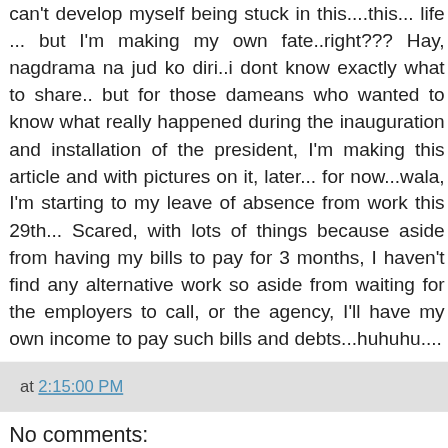can't develop myself being stuck in this....this... life ... but I'm making my own fate..right??? Hay, nagdrama na jud ko diri..i dont know exactly what to share.. but for those dameans who wanted to know what really happened during the inauguration and installation of the president, I'm making this article and with pictures on it, later... for now...wala, I'm starting to my leave of absence from work this 29th... Scared, with lots of things because aside from having my bills to pay for 3 months, I haven't find any alternative work so aside from waiting for the employers to call, or the agency, I'll have my own income to pay such bills and debts...huhuhu....
at 2:15:00 PM
No comments:
Post a Comment
Your Comments / Message here is Appreciate, I'll drop by to you as soon after I read it from...